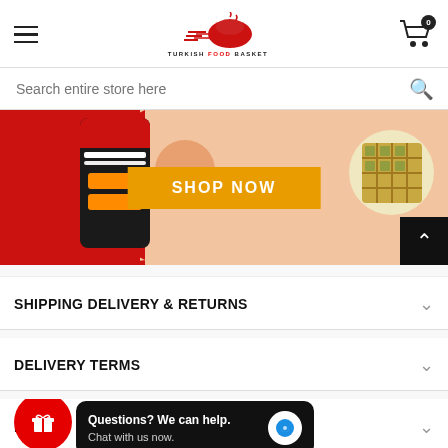Turkish Food Basket - navigation header with logo and cart
Search entire store here
[Figure (screenshot): E-commerce banner with red background on left, food/phone imagery, and a SHOP NOW orange button in center. Waffle food item on right.]
SHIPPING DELIVERY & RETURNS
DELIVERY TERMS
RE... & EX... (partially obscured by chat popup)
Questions? We can help. Chat with us now.